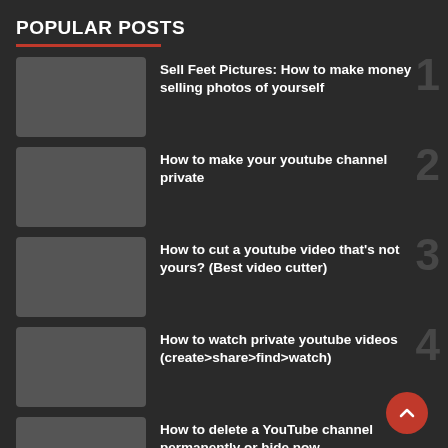POPULAR POSTS
Sell Feet Pictures: How to make money selling photos of yourself
How to make your youtube channel private
How to cut a youtube video that's not yours? (Best video cutter)
How to watch private youtube videos (create>share>find>watch)
How to delete a YouTube channel permanently or hide now